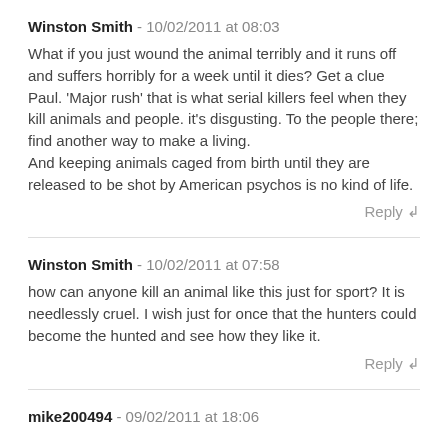Winston Smith - 10/02/2011 at 08:03
What if you just wound the animal terribly and it runs off and suffers horribly for a week until it dies? Get a clue Paul. 'Major rush' that is what serial killers feel when they kill animals and people. it's disgusting. To the people there; find another way to make a living.
And keeping animals caged from birth until they are released to be shot by American psychos is no kind of life.
Reply ↲
Winston Smith - 10/02/2011 at 07:58
how can anyone kill an animal like this just for sport? It is needlessly cruel. I wish just for once that the hunters could become the hunted and see how they like it.
Reply ↲
mike200494 - 09/02/2011 at 18:06